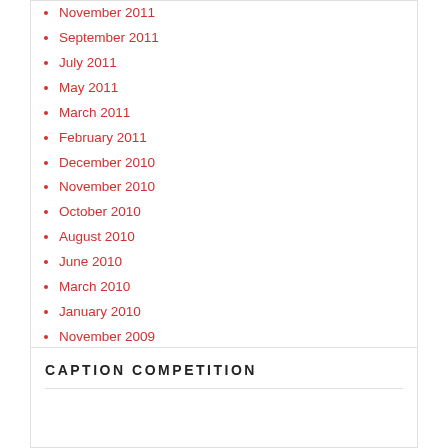November 2011
September 2011
July 2011
May 2011
March 2011
February 2011
December 2010
November 2010
October 2010
August 2010
June 2010
March 2010
January 2010
November 2009
October 2009
August 2009
July 2009
June 2009
CAPTION COMPETITION